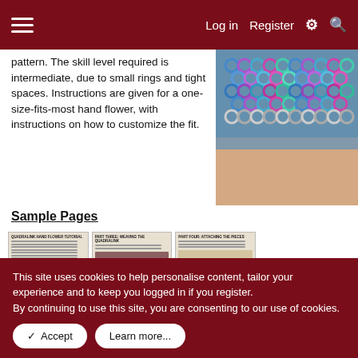Log in   Register
pattern. The skill level required is intermediate, due to small rings and tight spaces. Instructions are given for a one-size-fits-most hand flower, with instructions on how to customize the fit.
[Figure (photo): Close-up photo of a colorful blue and purple chainmaille bracelet worn on a wrist]
Sample Pages
[Figure (screenshot): Three thumbnail screenshots of tutorial document pages: Quadralink Hand Flower Tutorial, Part Three: Weaving the Quadralink, Part Four: Attaching the Pieces]
This site uses cookies to help personalise content, tailor your experience and to keep you logged in if you register.
By continuing to use this site, you are consenting to our use of cookies.